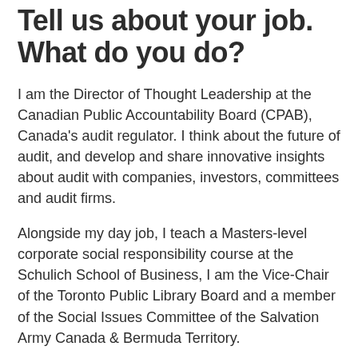Tell us about your job. What do you do?
I am the Director of Thought Leadership at the Canadian Public Accountability Board (CPAB), Canada's audit regulator. I think about the future of audit, and develop and share innovative insights about audit with companies, investors, committees and audit firms.
Alongside my day job, I teach a Masters-level corporate social responsibility course at the Schulich School of Business, I am the Vice-Chair of the Toronto Public Library Board and a member of the Social Issues Committee of the Salvation Army Canada & Bermuda Territory.